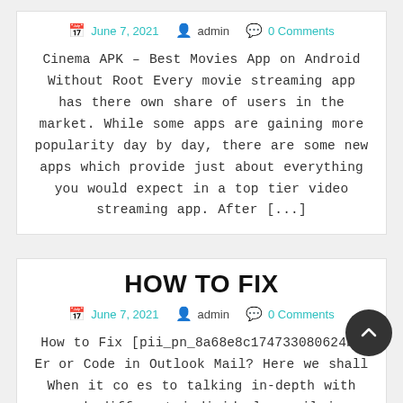June 7, 2021  admin  0 Comments
Cinema APK – Best Movies App on Android Without Root Every movie streaming app has there own share of users in the market. While some apps are gaining more popularity day by day, there are some new apps which provide just about everything you would expect in a top tier video streaming app. After [...]
HOW TO FIX
June 7, 2021  admin  0 Comments
How to Fix [pii_pn_8a68e8c174733080624b] Error Code in Outlook Mail? Here we shall When it comes to talking in-depth with each different individual, email is considered the first class device. This system permits us to send or obtain emails from our coworkers without difficulty. There are many email